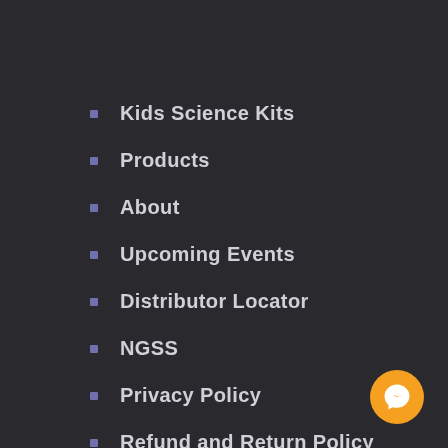Kids Science Kits
Products
About
Upcoming Events
Distributor Locator
NGSS
Privacy Policy
Refund and Return Policy
[Figure (illustration): Orange circular Facebook Messenger chat button icon in bottom-right corner]